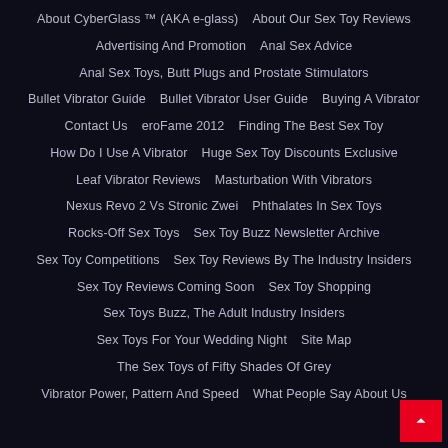About CyberGlass ™ (AKA e-glass)
About Our Sex Toy Reviews
Advertising And Promotion
Anal Sex Advice
Anal Sex Toys, Butt Plugs and Prostate Stimulators
Bullet Vibrator Guide
Bullet Vibrator User Guide
Buying A Vibrator
Contact Us
eroFame 2012
Finding The Best Sex Toy
How Do I Use A Vibrator
Huge Sex Toy Discounts Exclusive
Leaf Vibrator Reviews
Masturbation With Vibrators
Nexus Revo 2 Vs Stronic Zwei
Phthalates In Sex Toys
Rocks-Off Sex Toys
Sex Toy Buzz Newsletter Archive
Sex Toy Competitions
Sex Toy Reviews By The Industry Insiders
Sex Toy Reviews Coming Soon
Sex Toy Shopping
Sex Toys Buzz, The Adult Industry Insiders
Sex Toys For Your Wedding Night
Site Map
The Sex Toys of Fifty Shades Of Grey
Vibrator Power, Pattern And Speed
What People Say About Us